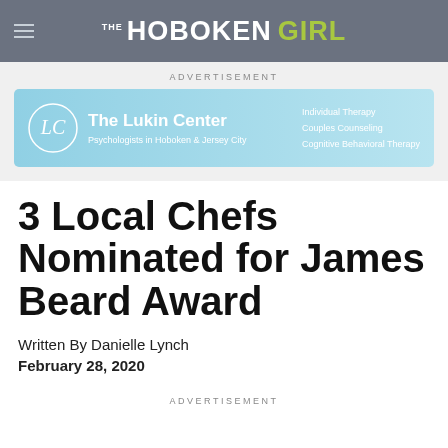THE HOBOKEN GIRL
ADVERTISEMENT
[Figure (other): The Lukin Center advertisement banner. Logo with cursive LC monogram on left. Center text: 'The Lukin Center / Psychologists in Hoboken & Jersey City'. Right text: 'Individual Therapy / Couples Counseling / Cognitive Behavioral Therapy']
3 Local Chefs Nominated for James Beard Award
Written By Danielle Lynch
February 28, 2020
ADVERTISEMENT